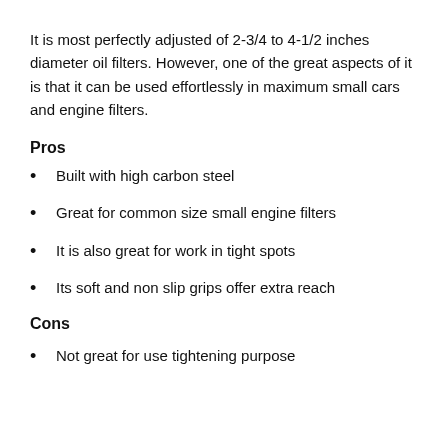It is most perfectly adjusted of 2-3/4 to 4-1/2 inches diameter oil filters. However, one of the great aspects of it is that it can be used effortlessly in maximum small cars and engine filters.
Pros
Built with high carbon steel
Great for common size small engine filters
It is also great for work in tight spots
Its soft and non slip grips offer extra reach
Cons
Not great for use tightening purpose